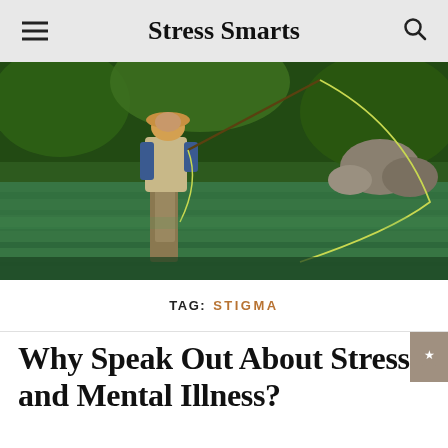Stress Smarts
[Figure (photo): Man fly fishing in a river, wearing a hat, blue shirt, and waders, casting a fly fishing line in a green, forested stream.]
TAG: STIGMA
Why Speak Out About Stress and Mental Illness?